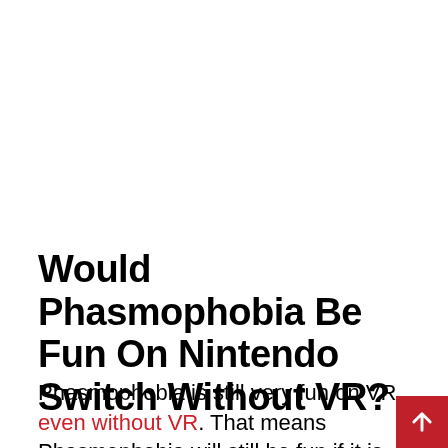Would Phasmophobia Be Fun On Nintendo Switch Without VR?
Phasmophobia is still very fun on VR, even without VR. That means Phasmophobia will still be fun if it is ever released for the Nintendo Switch. Right now the Nintendo Switch is still trying to get caught up